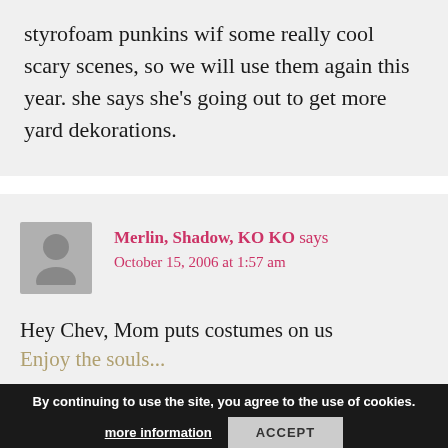styrofoam punkins wif some really cool scary scenes, so we will use them again this year. she says she's going out to get more yard dekorations.
Merlin, Shadow, KO KO says October 15, 2006 at 1:57 am
Hey Chev, Mom puts costumes on us
Enjoy the souls...
By continuing to use the site, you agree to the use of cookies. more information ACCEPT